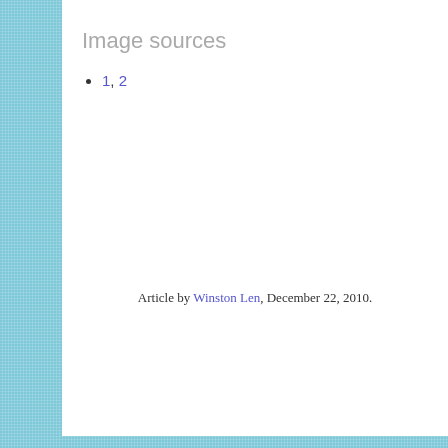Image sources
1, 2
Article by Winston Len, December 22, 2010.
COMMENTS (1)